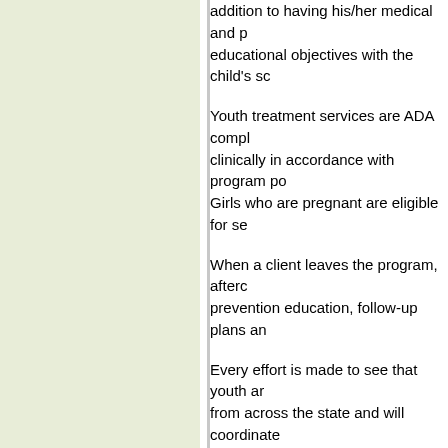addition to having his/her medical and psychological educational objectives with the child's sc
Youth treatment services are ADA compl clinically in accordance with program po Girls who are pregnant are eligible for se
When a client leaves the program, afterc prevention education, follow-up plans an
Every effort is made to see that youth ar from across the state and will coordinate are located in:
Danvers (boys)
Quincy (boys)
Springfield (boys)
Lawrence (girls)
Worcester (girls)
These programs are funded by the Depa the program will review the sliding scale